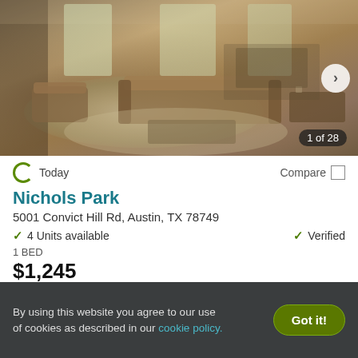[Figure (photo): Interior photo of an apartment living room with leather sofas, a patterned rug, hardwood floors, and dining area in background. Shows '1 of 28' counter badge.]
Today
Compare
Nichols Park
5001 Convict Hill Rd, Austin, TX 78749
✓ 4 Units available
✓ Verified
1 BED
$1,245
View Details
Contact Property
By using this website you agree to our use of cookies as described in our cookie policy.